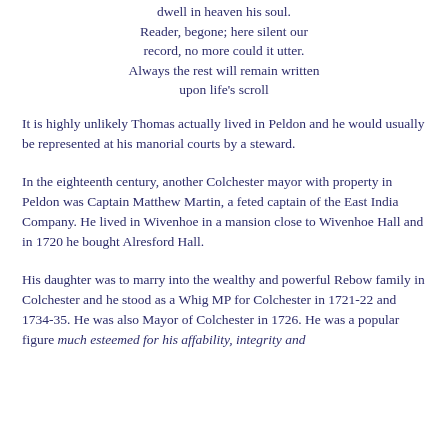dwell in heaven his soul.
Reader, begone; here silent our record, no more could it utter.
Always the rest will remain written upon life's scroll
It is highly unlikely Thomas actually lived in Peldon and he would usually be represented at his manorial courts by a steward.
In the eighteenth century, another Colchester mayor with property in Peldon was Captain Matthew Martin, a feted captain of the East India Company. He lived in Wivenhoe in a mansion close to Wivenhoe Hall and in 1720 he bought Alresford Hall.
His daughter was to marry into the wealthy and powerful Rebow family in Colchester and he stood as a Whig MP for Colchester in 1721-22 and 1734-35. He was also Mayor of Colchester in 1726. He was a popular figure much esteemed for his affability, integrity and